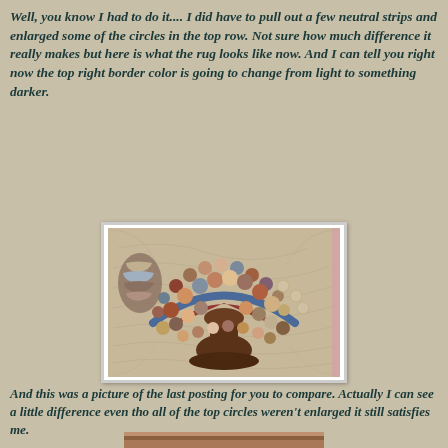Well, you know I had to do it.... I did have to pull out a few neutral strips and enlarged some of the circles in the top row. Not sure how much difference it really makes but here is what the rug looks like now. And I can tell you right now the top right border color is going to change from light to something darker.
[Figure (photo): A hooked rug depicting a tree of life or basket of flowers design with colorful circular motifs arranged in an arch over a brown vase/trunk shape, on a neutral beige background with curved line texture.]
And this was a picture of the last posting for you to compare. Actually I can see a little difference even tho all of the top circles weren't enlarged it still satisfies me.
[Figure (photo): Partial view of a similar hooked rug photo from the last posting, shown at the bottom of the page.]